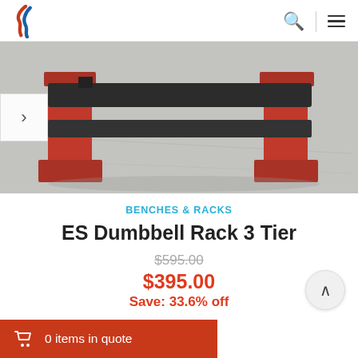Logo and navigation header with search and menu icons
[Figure (photo): Photo of an ES Dumbbell Rack 3 Tier with red metal frame and dark grey horizontal bars, photographed on a concrete floor. A navigation arrow is visible on the left side.]
BENCHES & RACKS
ES Dumbbell Rack 3 Tier
$595.00 (strikethrough original price)
$395.00
Save: 33.6% off
0 items in quote